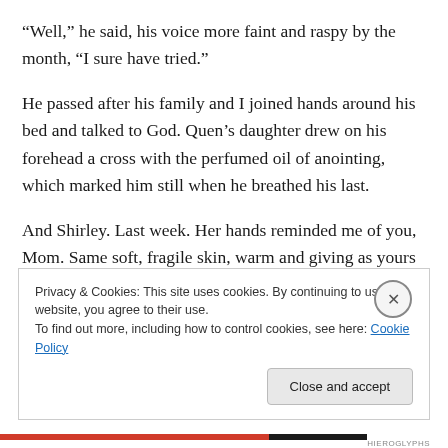“Well,” he said, his voice more faint and raspy by the month, “I sure have tried.”
He passed after his family and I joined hands around his bed and talked to God. Quen’s daughter drew on his forehead a cross with the perfumed oil of anointing, which marked him still when he breathed his last.
And Shirley. Last week. Her hands reminded me of you, Mom. Same soft, fragile skin, warm and giving as yours were. Shirley’s rested as if already in repose. I sheltered
Privacy & Cookies: This site uses cookies. By continuing to use this website, you agree to their use.
To find out more, including how to control cookies, see here: Cookie Policy